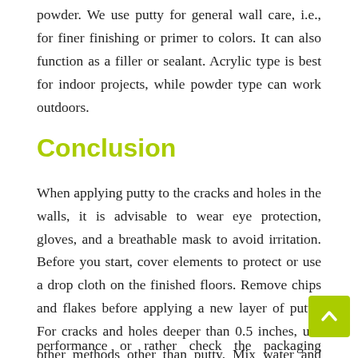There are two wall putty types available, acrylic and powder. We use putty for general wall care, i.e., for finer finishing or primer to colors. It can also function as a filler or sealant. Acrylic type is best for indoor projects, while powder type can work outdoors.
Conclusion
When applying putty to the cracks and holes in the walls, it is advisable to wear eye protection, gloves, and a breathable mask to avoid irritation. Before you start, cover elements to protect or use a drop cloth on the finished floors. Remove chips and flakes before applying a new layer of putty. For cracks and holes deeper than 0.5 inches, use other methods other than putty. Mix water and putty in the ratio of 2:1 for h performance or rather check the packaging instructions for specific use. The content content of putty